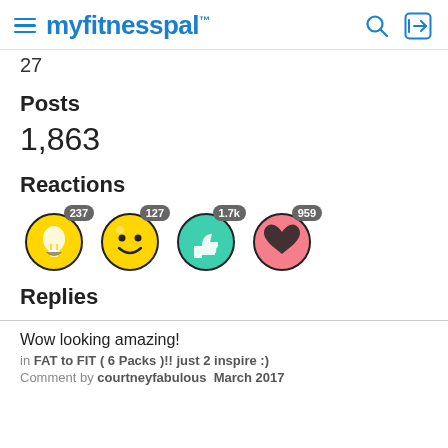myfitnesspal
27
Posts
1,863
Reactions
[Figure (infographic): Four reaction emoji icons with counts: lightbulb emoji (237), smiley face emoji (127), teal thumbs-up emoji (1.7k), pink heart emoji (959)]
Replies
Wow looking amazing!
in FAT to FIT ( 6 Packs )!! just 2 inspire :)
Comment by courtneyfabulous  March 2017